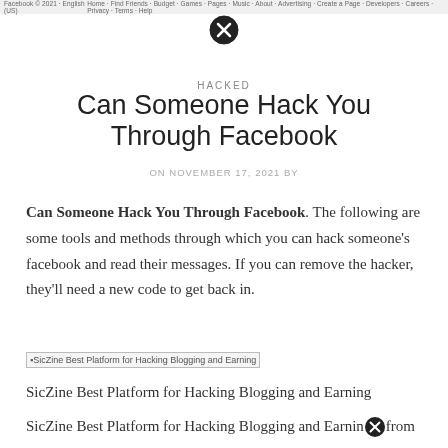Facebook © 2021 · English (US) | Home · Find Friends · Budget · Games · Pages · Music · About · Advertising · Create a Page · Developers · Careers · Privacy · Terms · Help
[Figure (other): Close/X button icon (circle with X)]
HACKED
Can Someone Hack You Through Facebook
ON NOVEMBER 17, 2021 BY
Can Someone Hack You Through Facebook. The following are some tools and methods through which you can hack someone's facebook and read their messages. If you can remove the hacker, they'll need a new code to get back in.
[Figure (other): SicZine Best Platform for Hacking Blogging and Earning - broken image placeholder]
SicZine Best Platform for Hacking Blogging and Earning
SicZine Best Platform for Hacking Blogging and Earnin from
[Figure (other): Close/X button icon at bottom of page]